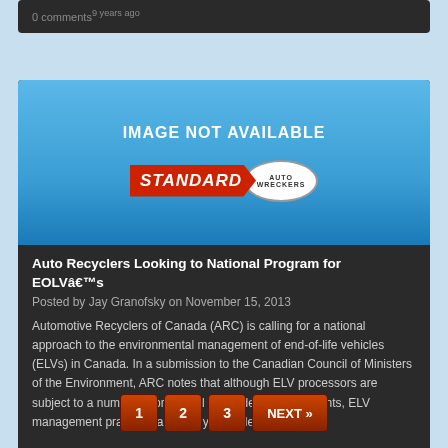0 comments9 years ago
[Figure (screenshot): IMAGE NOT AVAILABLE placeholder with Standard Auto Wreckers logo on blue background]
Auto Recyclers Looking to National Program for EOLVâ€™s
Posted by Jay Granofsky on November 15, 2013
Automotive Recyclers of Canada (ARC) is calling for a national approach to the environmental management of end-of-life vehicles (ELVs) in Canada. In a submission to the Canadian Council of Ministers of the Environment, ARC notes that although ELV processors are subject to a number of provincial and federal requirements, ELV management practices are highly variable. [...]
0 comments9 years ago
1  2  3  NEXT »